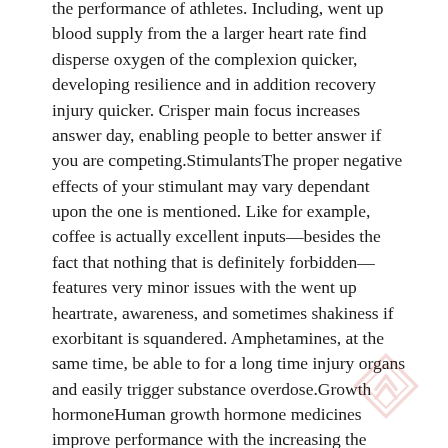the performance of athletes. Including, went up blood supply from the a larger heart rate find disperse oxygen of the complexion quicker, developing resilience and in addition recovery injury quicker. Crisper main focus increases answer day, enabling people to better answer if you are competing.StimulantsThe proper negative effects of your stimulant may vary dependant upon the one is mentioned. Like for example, coffee is actually excellent inputs—besides the fact that nothing that is definitely forbidden—features very minor issues with the went up heartrate, awareness, and sometimes shakiness if exorbitant is squandered. Amphetamines, at the same time, be able to for a long time injury organs and easily trigger substance overdose.Growth hormoneHuman growth hormone medicines improve performance with the increasing the existence belonging to the lime blood cells, promote